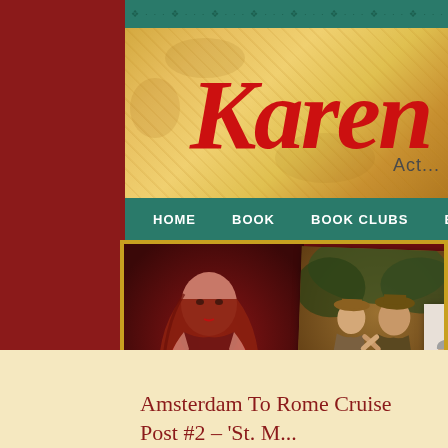[Figure (screenshot): Website screenshot for Karen, showing teal decorative border, parchment-colored header with red cursive 'Karen' title and 'Act...' subtitle, teal navigation bar with HOME, BOOK, BOOK CLUBS, BIO, PHOTOS menu items, photo banner with three photos (red-haired woman, couple in hats, group of three people), and cream content area below]
Karen
Act...
HOME   BOOK   BOOK CLUBS   BIO   PHOTOS
Amsterdam To Rome Cruise Post #2 – 'St. M... City Of Pirates'